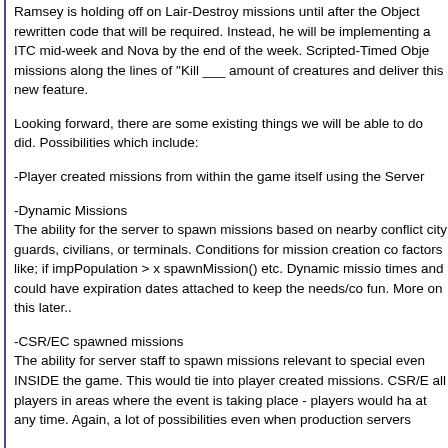Ramsey is holding off on Lair-Destroy missions until after the Object rewritten code that will be required. Instead, he will be implementing a ITC mid-week and Nova by the end of the week. Scripted-Timed Obje missions along the lines of "Kill ___ amount of creatures and deliver this new feature.
Looking forward, there are some existing things we will be able to do did. Possibilities which include:
-Player created missions from within the game itself using the Server
-Dynamic Missions
The ability for the server to spawn missions based on nearby conflict city guards, civilians, or terminals. Conditions for mission creation co factors like; if impPopulation > x spawnMission() etc. Dynamic missio times and could have expiration dates attached to keep the needs/co fun. More on this later..
-CSR/EC spawned missions
The ability for server staff to spawn missions relevant to special even INSIDE the game. This would tie into player created missions. CSR/E all players in areas where the event is taking place - players would ha at any time. Again, a lot of possibilities even when production servers
----------------------------------------------------
Deed Revamp
As a result of cRush's Structure Revamp, he also had to make some objects. He has simplified the code, and contained it within their pro